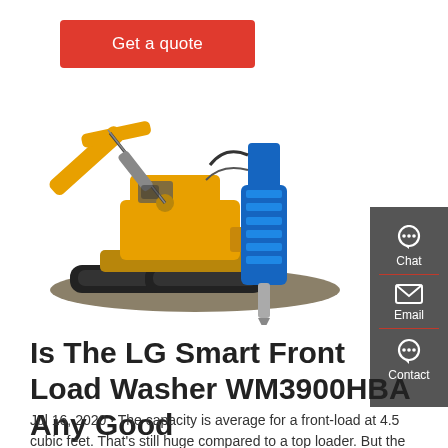Get a quote
[Figure (photo): Yellow excavator with blue hydraulic hammer attachment on tracks, on white background. A dark grey sidebar on the right shows Chat, Email, and Contact icons.]
Is The LG Smart Front Load Washer WM3900HBA Any Good
Jul 16, 2020 · The capacity is average for a front-load at 4.5 cubic feet. That's still huge compared to a top loader. But the